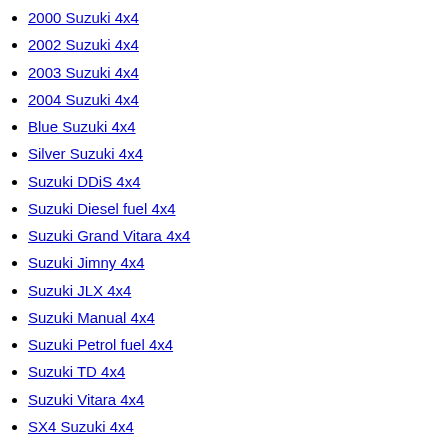2000 Suzuki 4x4
2002 Suzuki 4x4
2003 Suzuki 4x4
2004 Suzuki 4x4
Blue Suzuki 4x4
Silver Suzuki 4x4
Suzuki DDiS 4x4
Suzuki Diesel fuel 4x4
Suzuki Grand Vitara 4x4
Suzuki Jimny 4x4
Suzuki JLX 4x4
Suzuki Manual 4x4
Suzuki Petrol fuel 4x4
Suzuki TD 4x4
Suzuki Vitara 4x4
SX4 Suzuki 4x4
Toyota 4x4
2001 Toyota 4x4
2002 Toyota 4x4
2003 Toyota 4x4
2006 Toyota 4x4
2007 Toyota 4x4
Black Toyota 4x4